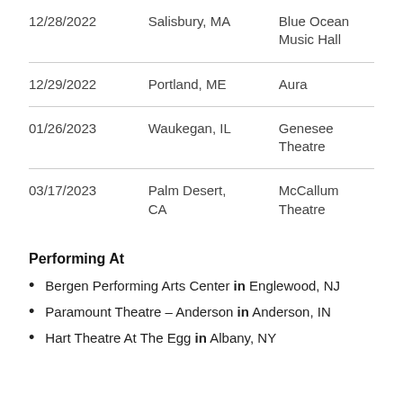| Date | City | Venue |
| --- | --- | --- |
| 12/28/2022 | Salisbury, MA | Blue Ocean Music Hall |
| 12/29/2022 | Portland, ME | Aura |
| 01/26/2023 | Waukegan, IL | Genesee Theatre |
| 03/17/2023 | Palm Desert, CA | McCallum Theatre |
Performing At
Bergen Performing Arts Center in Englewood, NJ
Paramount Theatre – Anderson in Anderson, IN
Hart Theatre At The Egg in Albany, NY